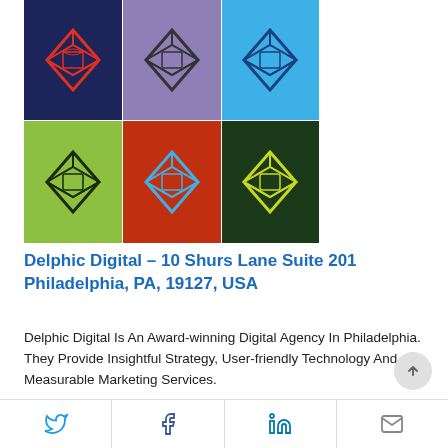[Figure (illustration): 3x2 grid of colorful pop-art style images showing a 3D cube logo (Delphic Digital brand mark) on various colored backgrounds: red/dark blue, purple/blue, dark blue/blue (top row); green/dark, red/dark, dark blue/green (bottom row)]
Delphic Digital – 10 Shurs Lane Suite 201 Philadelphia, PA, 19127, USA
Delphic Digital Is An Award-winning Digital Agency In Philadelphia. They Provide Insightful Strategy, User-friendly Technology And Measurable Marketing Services.
[Figure (logo): ESTRN logo — bold red text 'ESTRN' with a red horizontal line beneath it inside a red rectangular border, partially visible at bottom of page]
Twitter | Facebook | LinkedIn | Email (social share bar)